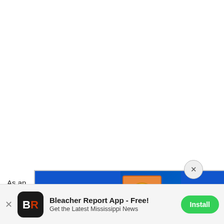As an … topic
[Figure (screenshot): Advertisement banner: Scratch-Off Savings on left with coin graphic and dollar signs, then 'Compare Rates and Save!' with Progressive insurance logo and Get a Quote button on blue background. Close X button in gray circle above right of ad.]
is givi… t
[Figure (screenshot): App install banner at bottom: Bleacher Report App - Free! Get the Latest Mississippi News, with BR logo icon on left and green Install button on right, with X close button on far left.]